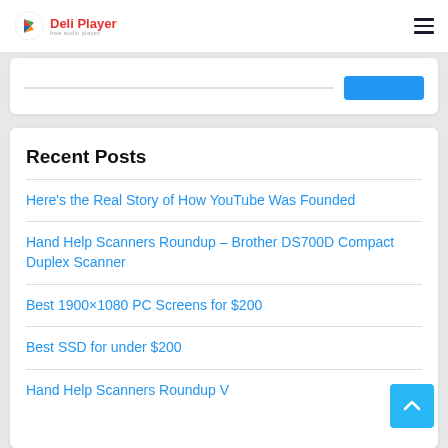Deli Player — free audio player
Recent Posts
Here's the Real Story of How YouTube Was Founded
Hand Help Scanners Roundup – Brother DS700D Compact Duplex Scanner
Best 1900×1080 PC Screens for $200
Best SSD for under $200
Hand Help Scanners Roundup V…